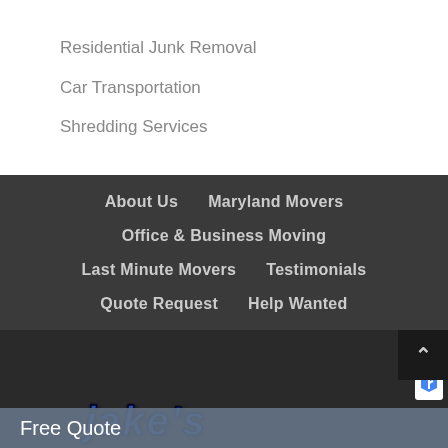Residential Junk Removal
Car Transportation
Shredding Services
About Us   Maryland Movers   Office & Business Moving   Last Minute Movers   Testimonials   Quote Request   Help Wanted
[Figure (illustration): Jake's moving company logo with moving truck, road sign, phone icon, and reCAPTCHA badge on dark background]
Free Quote